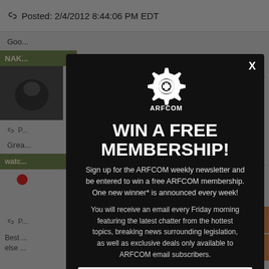Posted: 2/4/2012 8:44:06 PM EDT
[Figure (screenshot): Background of a forum page (ARFCOM) partially visible behind a modal dialog, showing post content, user avatars, green username bars, navigation arrows]
[Figure (infographic): ARFCOM modal popup with gear logo, 'WIN A FREE MEMBERSHIP!' heading, newsletter signup description, and email input field]
WIN A FREE MEMBERSHIP!
Sign up for the ARFCOM weekly newsletter and be entered to win a free ARFCOM membership. One new winner* is announced every week!
You will receive an email every Friday morning featuring the latest chatter from the hottest topics, breaking news surrounding legislation, as well as exclusive deals only available to ARFCOM email subscribers.